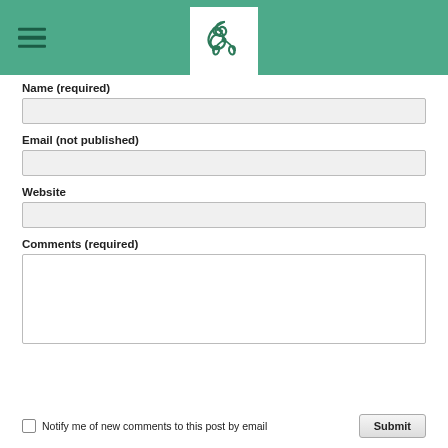[Figure (logo): Triskelion spiral logo in dark green on white background, displayed in a teal/green header bar with hamburger menu icon on the left]
Name (required)
Email (not published)
Website
Comments (required)
Notify me of new comments to this post by email